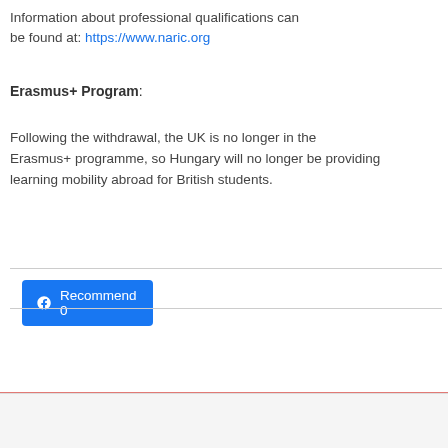Information about professional qualifications can be found at: https://www.naric.org
Erasmus+ Program:
Following the withdrawal, the UK is no longer in the Erasmus+ programme, so Hungary will no longer be providing learning mobility abroad for British students.
[Figure (other): Facebook Recommend button with count 0]
Hungarian flag stripe decoration and footer bar